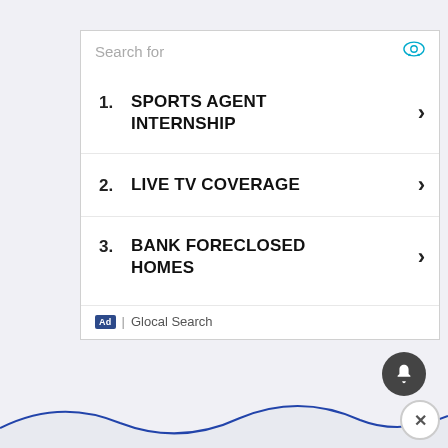Search for
1. SPORTS AGENT INTERNSHIP
2. LIVE TV COVERAGE
3. BANK FORECLOSED HOMES
Ad | Glocal Search